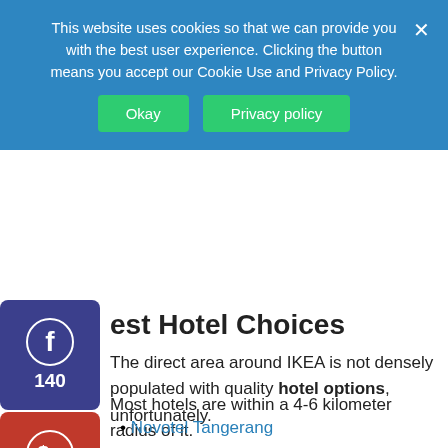This website uses cookies so that we can provide you with the best user experience. Clicking the button means you accept our Cookie Use and Privacy Policy.
Okay  Privacy policy
est Hotel Choices
The direct area around IKEA is not densely populated with quality hotel options, unfortunately.
Most hotels are within a 4-6 kilometer radius of it.
Some of the best options in this area of Tangerang include:
Novotel Tangerang